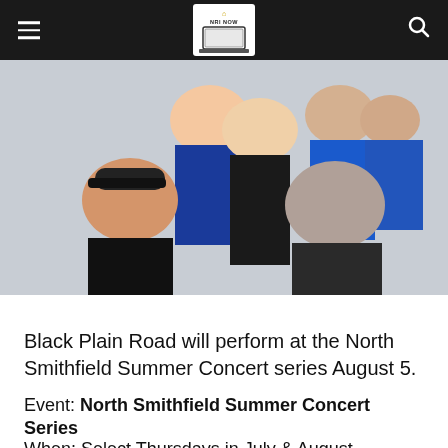NRI NOW [logo]
[Figure (photo): Group photo of band members Black Plain Road, with two men in foreground, one wearing a Hard Rock cap, against a light background with others standing behind.]
Black Plain Road will perform at the North Smithfield Summer Concert series August 5.
Event: North Smithfield Summer Concert Series
When: Select Thursdays in July & August